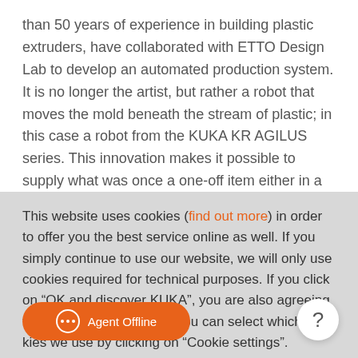than 50 years of experience in building plastic extruders, have collaborated with ETTO Design Lab to develop an automated production system. It is no longer the artist, but rather a robot that moves the mold beneath the stream of plastic; in this case a robot from the KUKA KR AGILUS series. This innovation makes it possible to supply what was once a one-off item either in a limited edition of consistently high quality or as a mass-produced designer piece at low cost. Yaron Elvasi has a
This website uses cookies (find out more) in order to offer you the best service online as well. If you simply continue to use our website, we will only use cookies required for technical purposes. If you click on “OK and discover KUKA”, you are also agreeing to the additional cookies. You can select which cookies we use by clicking on “Cookie settings”.